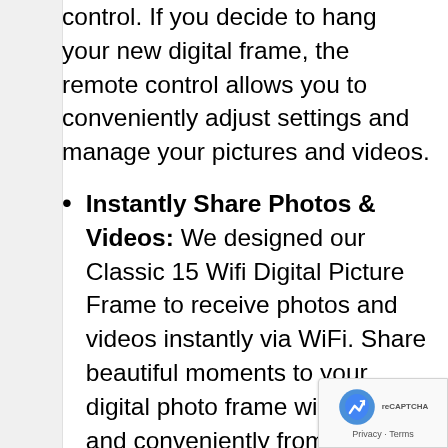control. If you decide to hang your new digital frame, the remote control allows you to conveniently adjust settings and manage your pictures and videos.
Instantly Share Photos & Videos: We designed our Classic 15 Wifi Digital Picture Frame to receive photos and videos instantly via WiFi. Share beautiful moments to your digital photo frame wirelessly and conveniently from your phone or computer via the OurPhoto app, cloud storage, or email (Note: Only works with 2.4 GHz WiFi).
Includes Bonus Features: Enjoy your favorite music, set an alarm, check you...